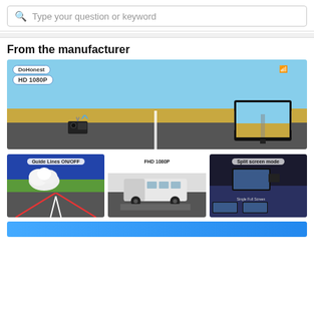[Figure (screenshot): Search bar with magnifying glass icon and placeholder text 'Type your question or keyword']
From the manufacturer
[Figure (photo): DoHonest HD 1080P wireless backup camera system with camera unit and monitor, set against a road and sky background]
[Figure (photo): Guide lines ON/OFF feature image showing a rear camera view of a road with red guide lines]
[Figure (photo): FHD 1080P image showing a large white RV/motorhome on a road]
[Figure (photo): Split screen mode image showing monitor with Single Full Screen, Split Screen, and Quad Screen options]